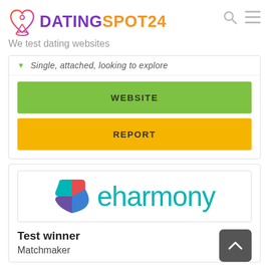DATINGSPOT24 — We test dating websites
Single, attached, looking to explore
WEBSITE
REPORT
[Figure (logo): eharmony logo with multicolored heart icon and teal text]
Test winner
Matchmaker